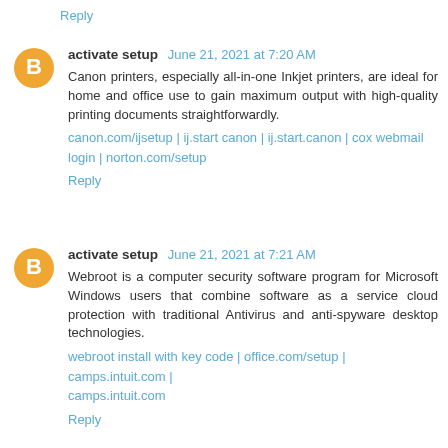Reply
activate setup June 21, 2021 at 7:20 AM
Canon printers, especially all-in-one Inkjet printers, are ideal for home and office use to gain maximum output with high-quality printing documents straightforwardly.
canon.com/ijsetup | ij.start canon | ij.start.canon | cox webmail login | norton.com/setup
Reply
activate setup June 21, 2021 at 7:21 AM
Webroot is a computer security software program for Microsoft Windows users that combine software as a service cloud protection with traditional Antivirus and anti-spyware desktop technologies.
webroot install with key code | office.com/setup | camps.intuit.com | camps.intuit.com
Reply